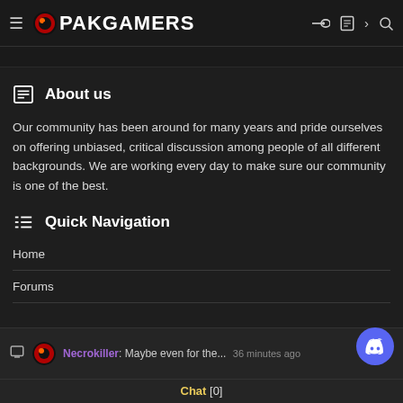PAKGAMERS
About us
Our community has been around for many years and pride ourselves on offering unbiased, critical discussion among people of all different backgrounds. We are working every day to make sure our community is one of the best.
Quick Navigation
Home
Forums
Necrokiller: Maybe even for the... 36 minutes ago  Chat [0]